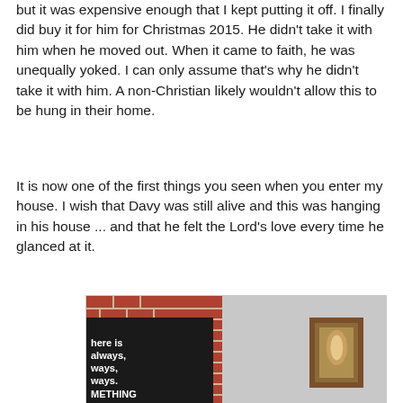but it was expensive enough that I kept putting it off. I finally did buy it for him for Christmas 2015. He didn't take it with him when he moved out. When it came to faith, he was unequally yoked. I can only assume that's why he didn't take it with him. A non-Christian likely wouldn't allow this to be hung in their home.
It is now one of the first things you seen when you enter my house. I wish that Davy was still alive and this was hanging in his house ... and that he felt the Lord's love every time he glanced at it.
[Figure (photo): A photo showing a brick wall with a dark decorative sign partially visible reading 'here is always, always, ways, METHING', and a framed religious artwork hung on a gray wall to the right.]